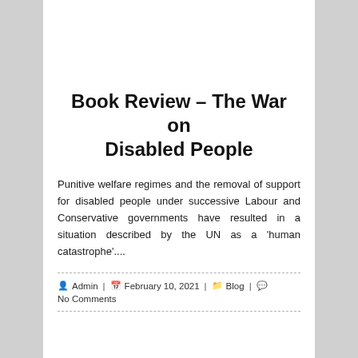Book Review – The War on Disabled People
Punitive welfare regimes and the removal of support for disabled people under successive Labour and Conservative governments have resulted in a situation described by the UN as a 'human catastrophe'....
Admin | February 10, 2021 | Blog | No Comments